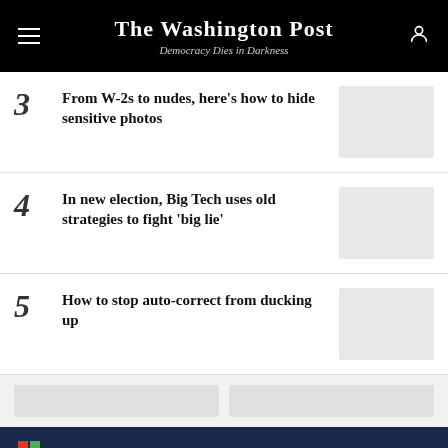The Washington Post — Democracy Dies in Darkness
3 From W-2s to nudes, here's how to hide sensitive photos
4 In new election, Big Tech uses old strategies to fight 'big lie'
5 How to stop auto-correct from ducking up
[Figure (screenshot): Altria advertisement banner: 'Moving beyond smoking — SEE HOW']